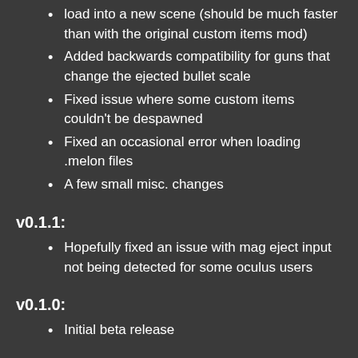load into a new scene (should be much faster than with the original custom items mod)
Added backwards compatibility for guns that change the ejected bullet scale
Fixed issue where some custom items couldn't be despawned
Fixed an occasional error when loading .melon files
A few small misc. changes
v0.1.1:
Hopefully fixed an issue with mag eject input not being detected for some oculus users
v0.1.0:
Initial beta release